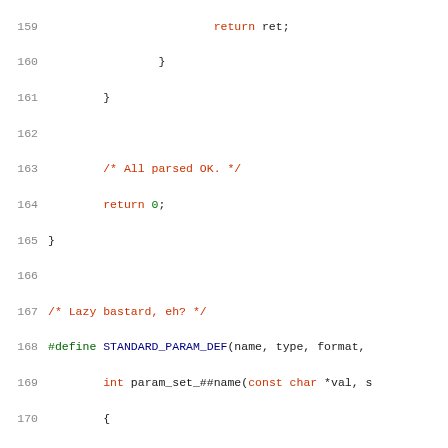[Figure (screenshot): Source code listing showing lines 159-180 of a C program with syntax highlighting. Line numbers in gray, keywords in red, preprocessor directives in green, numeric literals in green, and identifiers in dark blue/black.]